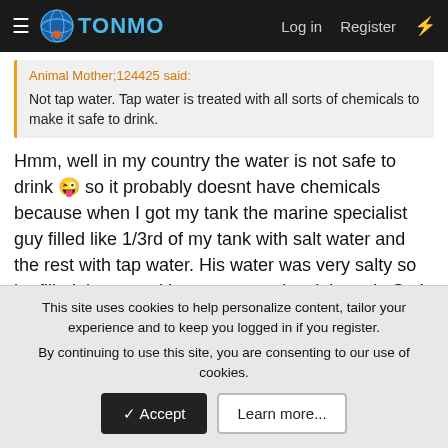TONMO | Log in | Register
Animal Mother;124425 said:
Not tap water. Tap water is treated with all sorts of chemicals to make it safe to drink.
Hmm, well in my country the water is not safe to drink 😜 so it probably doesnt have chemicals because when I got my tank the marine specialist guy filled like 1/3rd of my tank with salt water and the rest with tap water. His water was very salty so he filled the rest with tap water to level the salt. So I think its safe to use tap water?
This site uses cookies to help personalize content, tailor your experience and to keep you logged in if you register.
By continuing to use this site, you are consenting to our use of cookies.
Accept | Learn more...